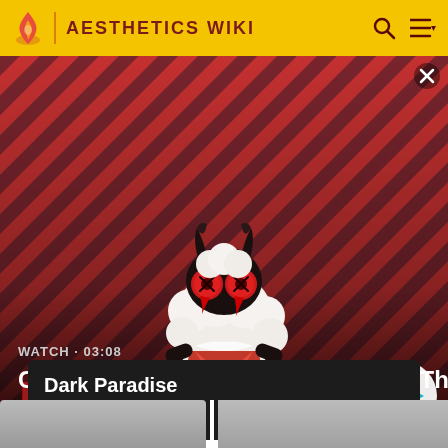AESTHETICS WIKI
[Figure (screenshot): Video thumbnail for 'Cult of the Lamb Will Suck You In - The Loop' showing an animated lamb character with devil horns and red eyes on a red diagonal striped background with text 'WATCH · 03:08' and a play button circle]
Dark Paradise
Aesthetics Wiki
[Figure (screenshot): Bottom portion showing two thumbnail previews partially visible at the bottom of the page, with grey and dark red tones]